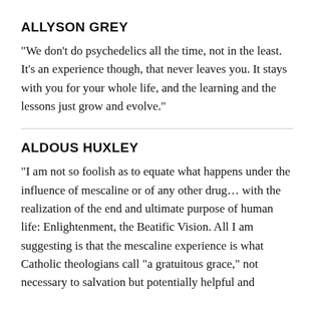ALLYSON GREY
“We don’t do psychedelics all the time, not in the least. It’s an experience though, that never leaves you. It stays with you for your whole life, and the learning and the lessons just grow and evolve.”
ALDOUS HUXLEY
“I am not so foolish as to equate what happens under the influence of mescaline or of any other drug… with the realization of the end and ultimate purpose of human life: Enlightenment, the Beatific Vision. All I am suggesting is that the mescaline experience is what Catholic theologians call “a gratuitous grace,” not necessary to salvation but potentially helpful and